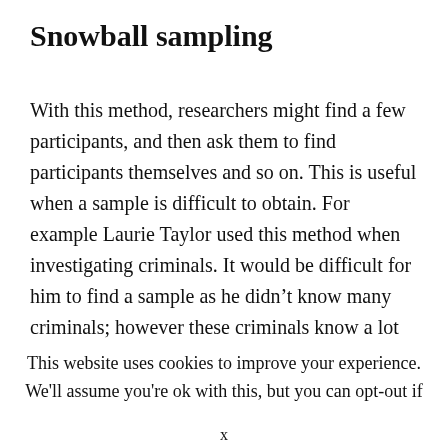Snowball sampling
With this method, researchers might find a few participants, and then ask them to find participants themselves and so on. This is useful when a sample is difficult to obtain. For example Laurie Taylor used this method when investigating criminals. It would be difficult for him to find a sample as he didn't know many criminals; however these criminals know a lot of people who would be willing to participate, so it is more efficient to use the snowball
This website uses cookies to improve your experience. We'll assume you're ok with this, but you can opt-out if
x